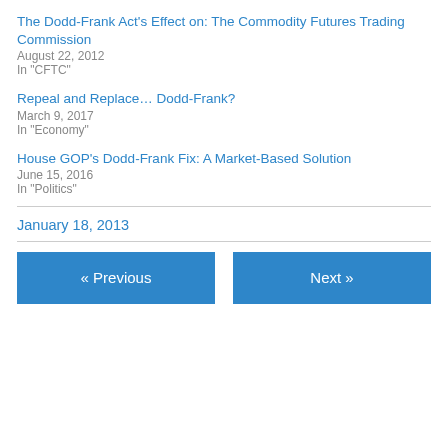The Dodd-Frank Act's Effect on: The Commodity Futures Trading Commission
August 22, 2012
In "CFTC"
Repeal and Replace… Dodd-Frank?
March 9, 2017
In "Economy"
House GOP's Dodd-Frank Fix: A Market-Based Solution
June 15, 2016
In "Politics"
January 18, 2013
« Previous
Next »